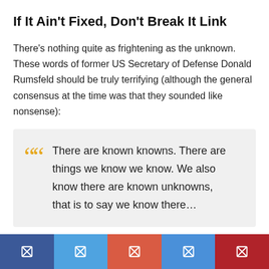If It Ain't Fixed, Don't Break It Link
There's nothing quite as frightening as the unknown. These words of former US Secretary of Defense Donald Rumsfeld should be truly terrifying (although the general consensus at the time was that they sounded like nonsense):
There are known knowns. There are things we know we know. We also know there are known unknowns, that is to say we know there…
[Figure (infographic): Social media sharing bar with five colored buttons (Facebook dark blue, Twitter light blue, orange-red, medium blue, dark red), each containing a small share icon.]